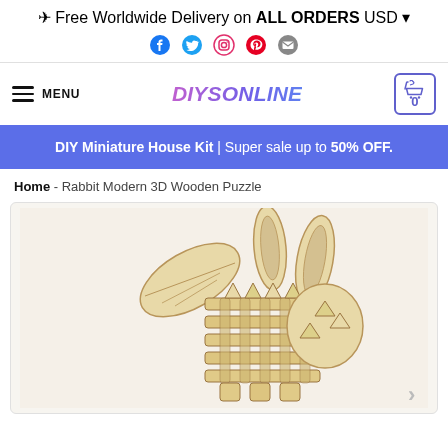✈ Free Worldwide Delivery on ALL ORDERS
USD
[Figure (logo): Social media icons: Facebook, Twitter, Instagram, Pinterest, Email]
≡ MENU
[Figure (logo): DIYSONLINE logo in purple/blue gradient italic bold text]
0 (cart)
DIY Miniature House Kit | Super sale up to 50% OFF.
Home - Rabbit Modern 3D Wooden Puzzle
[Figure (photo): 3D wooden puzzle rabbit model assembled, made of light wood slats with geometric interlocking pieces, showing the body and ears of the rabbit figure]